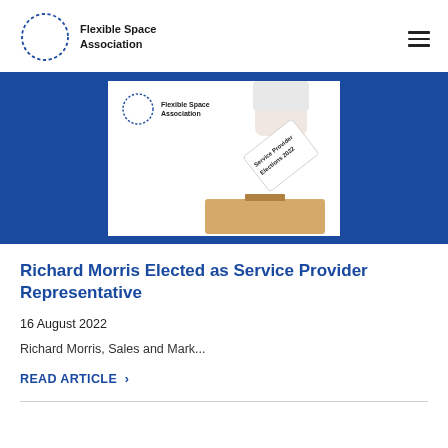Flexible Space Association
[Figure (photo): Hero banner with dark blue background showing a white card labeled 'Service Provider Elections 2022' being inserted into a ballot box, with Flexible Space Association logo on the card. The image appears as a centered white card on a blue banner.]
Richard Morris Elected as Service Provider Representative
16 August 2022
Richard Morris, Sales and Mark...
READ ARTICLE >